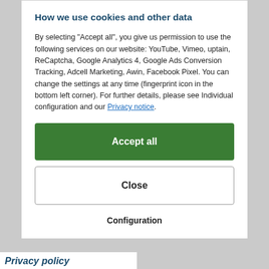How we use cookies and other data
By selecting "Accept all", you give us permission to use the following services on our website: YouTube, Vimeo, uptain, ReCaptcha, Google Analytics 4, Google Ads Conversion Tracking, Adcell Marketing, Awin, Facebook Pixel. You can change the settings at any time (fingerprint icon in the bottom left corner). For further details, please see Individual configuration and our Privacy notice.
Accept all
Close
Configuration
Privacy policy